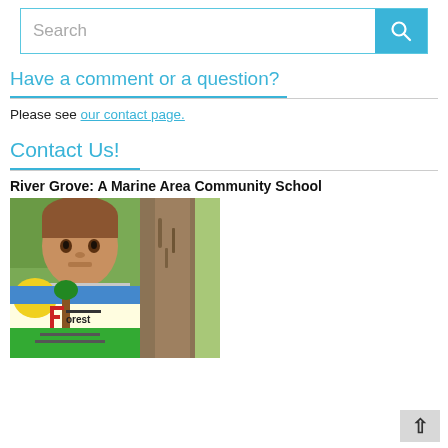Search
Have a comment or a question?
Please see our contact page.
Contact Us!
River Grove: A Marine Area Community School
[Figure (photo): A boy outdoors near a tree, partially obscured, with a colorful hand-drawn sign reading 'Forest' below him]